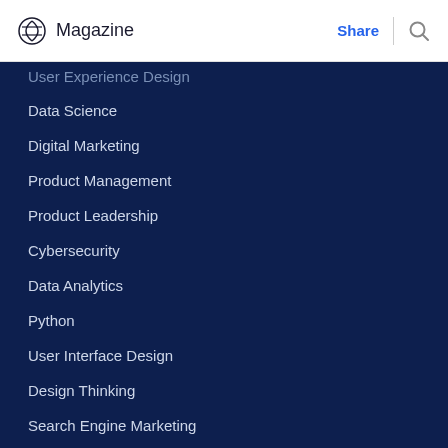Magazine | Share
User Experience Design
Data Science
Digital Marketing
Product Management
Product Leadership
Cybersecurity
Data Analytics
Python
User Interface Design
Design Thinking
Search Engine Marketing
Social Media Marketing
About
Our Story